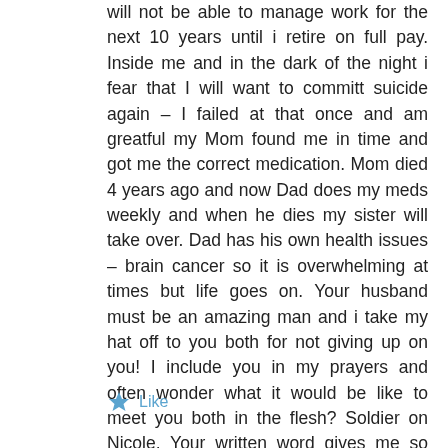will not be able to manage work for the next 10 years until i retire on full pay. Inside me and in the dark of the night i fear that I will want to committ suicide again – I failed at that once and am greatful my Mom found me in time and got me the correct medication. Mom died 4 years ago and now Dad does my meds weekly and when he dies my sister will take over. Dad has his own health issues – brain cancer so it is overwhelming at times but life goes on. Your husband must be an amazing man and i take my hat off to you both for not giving up on you! I include you in my prayers and often wonder what it would be like to meet you both in the flesh? Soldier on Nicole. Your written word gives me so much hope……….thanks
Like